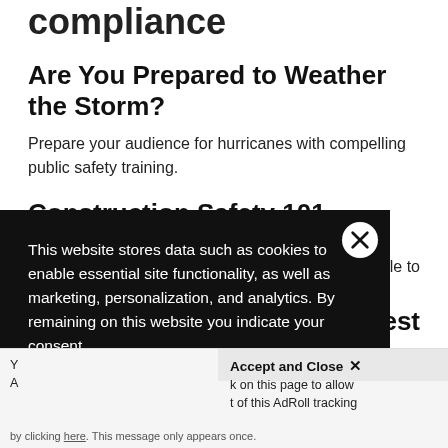compliance
Are You Prepared to Weather the Storm?
Prepare your audience for hurricanes with compelling public safety training.
Construction Safety 101
able to
nterest
with
This website stores data such as cookies to enable essential site functionality, as well as marketing, personalization, and analytics. By remaining on this website you indicate your consent.
Privacy Notice
Accept and Close ×
k on this page to allow t of this AdRoll tracking
Y A by clicking here. This message only appears once.